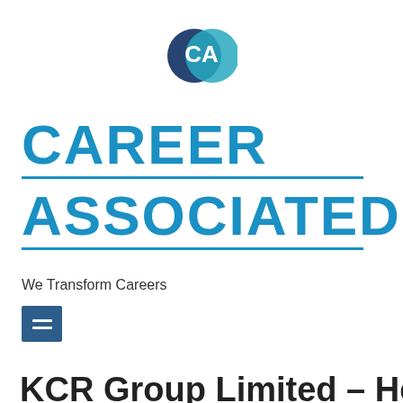[Figure (logo): Career Associated logo — two overlapping circles forming a 'CA' monogram in dark navy and teal/cyan colors]
CAREER ASSOCIATED
We Transform Careers
[Figure (other): Hamburger menu button icon — dark navy rectangle with two white horizontal lines]
KCR Group Limited — Head